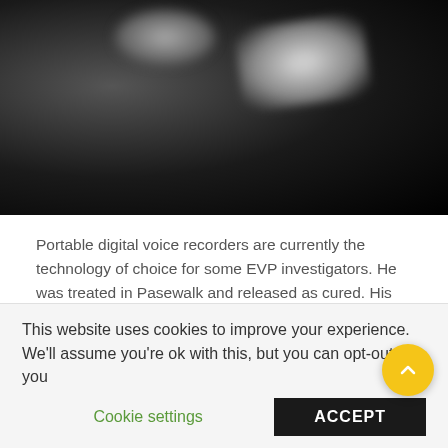[Figure (photo): Dark grayscale photograph showing two blurry white/gray shapes against a black background, resembling an EVP or paranormal investigation image.]
Portable digital voice recorders are currently the technology of choice for some EVP investigators. He was treated in Pasewalk and released as cured. His book has historical significance. Even many people who consider themselves believing Christians shrug their shoulders if asked on their honor and conscience if they believed that life would continue after death.
Only in the evening did I care to turn my tape recorder on to record, since I hoped to record some more transmissions from the
This website uses cookies to improve your experience. We'll assume you're ok with this, but you can opt-out if you
Cookie settings
ACCEPT